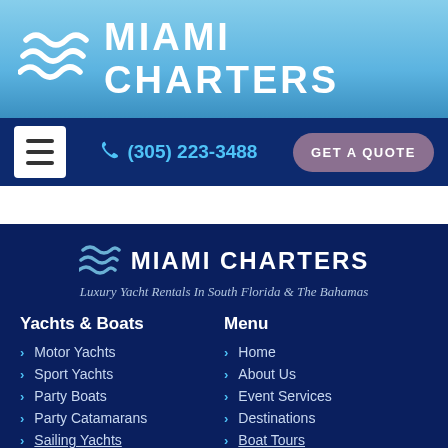[Figure (logo): Miami Charters logo with wave icon and text on sky blue gradient background]
(305) 223-3488 | GET A QUOTE
[Figure (logo): Miami Charters logo with wave icon on dark navy background, with tagline: Luxury Yacht Rentals In South Florida & The Bahamas]
Yachts & Boats
Menu
Motor Yachts
Home
Sport Yachts
About Us
Party Boats
Event Services
Party Catamarans
Destinations
Sailing Yachts
Boat Tours